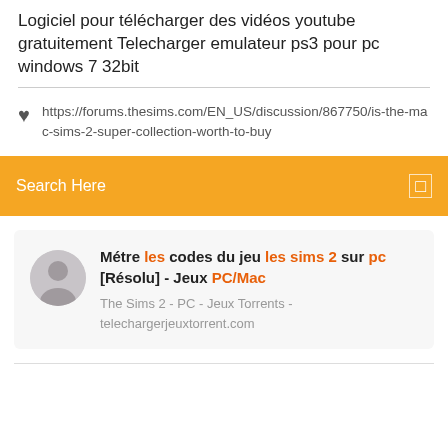Logiciel pour télécharger des vidéos youtube gratuitement Telecharger emulateur ps3 pour pc windows 7 32bit
https://forums.thesims.com/EN_US/discussion/867750/is-the-mac-sims-2-super-collection-worth-to-buy
Search Here
Métre les codes du jeu les sims 2 sur pc [Résolu] - Jeux PC/Mac
The Sims 2 - PC - Jeux Torrents - telechargerjeuxtorrent.com